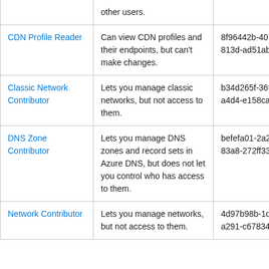|  | other users. |  |
| CDN Profile Reader | Can view CDN profiles and their endpoints, but can't make changes. | 8f96442b-4075-438f-813d-ad51ab4019af |
| Classic Network Contributor | Lets you manage classic networks, but not access to them. | b34d265f-36f7-4a0d-a4d4-e158ca92e90f |
| DNS Zone Contributor | Lets you manage DNS zones and record sets in Azure DNS, but does not let you control who has access to them. | befefa01-2a29-4197-83a8-272ff33ce314 |
| Network Contributor | Lets you manage networks, but not access to them. | 4d97b98b-1d4f-4787-a291-c67834d212e7 |